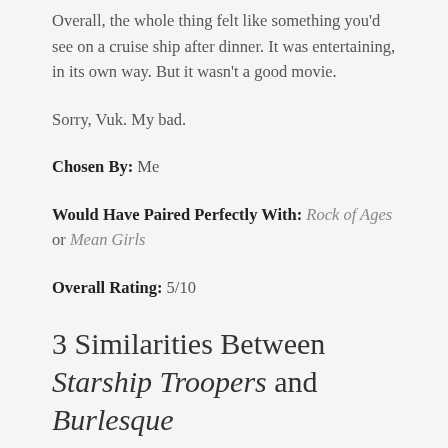Overall, the whole thing felt like something you'd see on a cruise ship after dinner. It was entertaining, in its own way. But it wasn't a good movie.
Sorry, Vuk. My bad.
Chosen By: Me
Would Have Paired Perfectly With: Rock of Ages or Mean Girls
Overall Rating: 5/10
3 Similarities Between Starship Troopers and Burlesque
Despite the striking differences between Starship Troopers and Burlesque, the two movies had more in common than